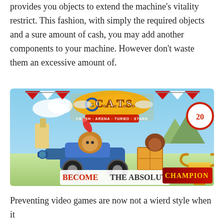provides you objects to extend the machine's vitality restrict. This fashion, with simply the required objects and a sure amount of cash, you may add another components to your machine. However don't waste them an excessive amount of.
[Figure (illustration): Promotional game image for C.A.T.S. (Crash Arena Turbo Stars) showing cartoon cats riding battle machines with text 'BECOME THE ABSOLUTE CHAMPION' at the bottom.]
Preventing video games are now not a wierd style when it